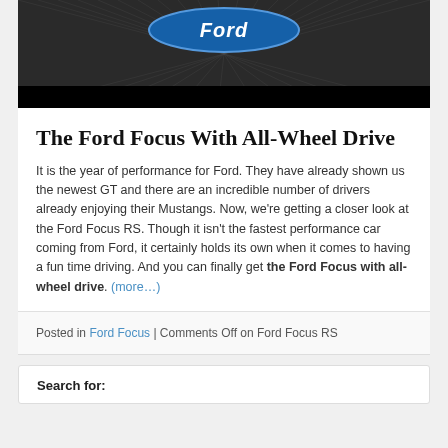[Figure (photo): A motion-blur photo of a road at speed with a blue Ford logo at the top, with a black bar at the bottom]
The Ford Focus With All-Wheel Drive
It is the year of performance for Ford. They have already shown us the newest GT and there are an incredible number of drivers already enjoying their Mustangs. Now, we're getting a closer look at the Ford Focus RS. Though it isn't the fastest performance car coming from Ford, it certainly holds its own when it comes to having a fun time driving. And you can finally get the Ford Focus with all-wheel drive. (more…)
Posted in Ford Focus | Comments Off on Ford Focus RS
Search for: